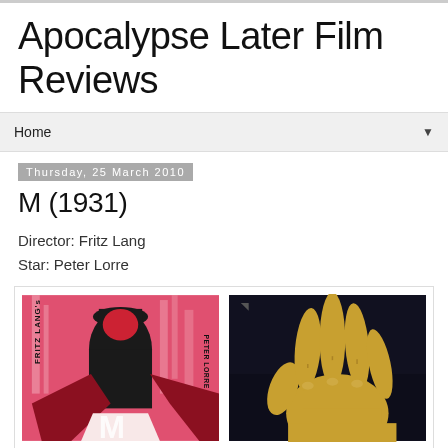Apocalypse Later Film Reviews
Home
Thursday, 25 March 2010
M (1931)
Director: Fritz Lang
Star: Peter Lorre
[Figure (illustration): Movie poster for M (1931) - red and black graphic art style showing Fritz Lang's and Peter Lorre's names with silhouetted figures]
[Figure (photo): Dark background image showing a yellow/golden human hand reaching upward, from the film M (1931)]